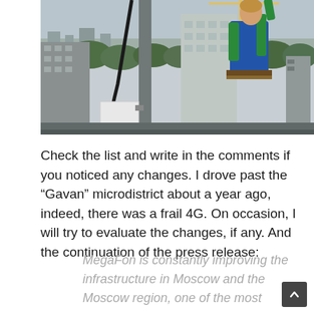[Figure (photo): A worker in blue overalls and safety harness reaching upward on a rooftop, with telecommunication equipment and city buildings with cranes visible in the background.]
Check the list and write in the comments if you noticed any changes. I drove past the “Gavan” microdistrict about a year ago, indeed, there was a frail 4G. On occasion, I will try to evaluate the changes, if any. And the continuation of the press release:
MegaFon is constantly improving the infrastructure in Moscow and the Moscow region, one of the most